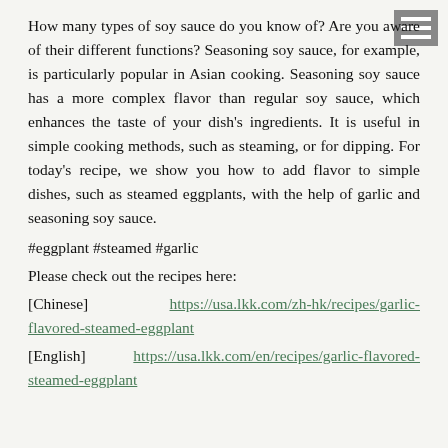How many types of soy sauce do you know of? Are you aware of their different functions? Seasoning soy sauce, for example, is particularly popular in Asian cooking. Seasoning soy sauce has a more complex flavor than regular soy sauce, which enhances the taste of your dish's ingredients. It is useful in simple cooking methods, such as steaming, or for dipping. For today's recipe, we show you how to add flavor to simple dishes, such as steamed eggplants, with the help of garlic and seasoning soy sauce.
#eggplant #steamed #garlic
Please check out the recipes here:
[Chinese]   https://usa.lkk.com/zh-hk/recipes/garlic-flavored-steamed-eggplant
[English]   https://usa.lkk.com/en/recipes/garlic-flavored-steamed-eggplant